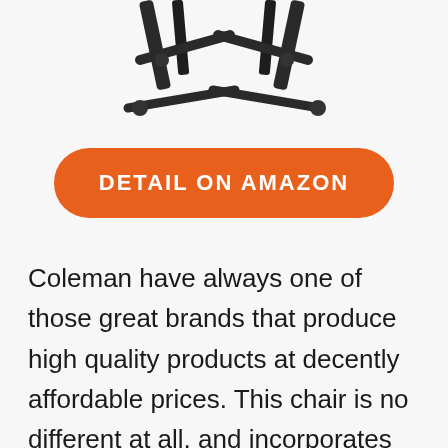[Figure (photo): Partial top view of a folding camping chair frame showing dark metal legs and crossbars against a light gray background. Only the upper portion of the chair is visible.]
DETAIL ON AMAZON
Coleman have always one of those great brands that produce high quality products at decently affordable prices. This chair is no different at all, and incorporates absolutely all the feature's you'd tend to expect from such a brand. Durable, simple fold away (carry bag provided) with dual storage (pocket & mesh) alongside a smart little cup holder.